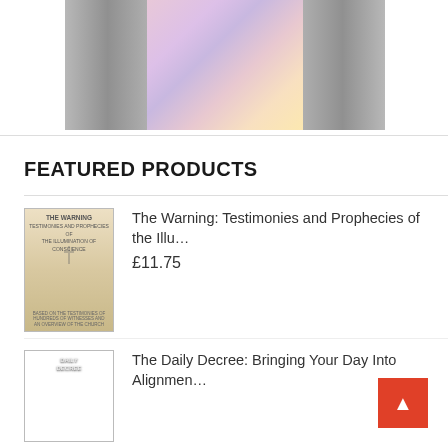[Figure (photo): Banner image showing book covers against a peach/orange background with a colorful swirled design in the center]
FEATURED PRODUCTS
[Figure (photo): Book cover of 'The Warning: Testimonies and Prophecies of the Illumination of Conscience']
The Warning: Testimonies and Prophecies of the Illu…
£11.75
[Figure (photo): Book cover of 'The Daily Decree: Bringing Your Day Into Alignment...']
The Daily Decree: Bringing Your Day Into Alignmen…